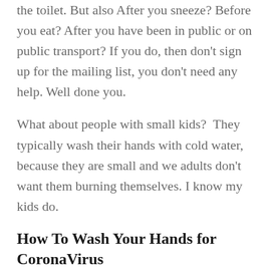the toilet. But also After you sneeze? Before you eat? After you have been in public or on public transport? If you do, then don't sign up for the mailing list, you don't need any help. Well done you.
What about people with small kids?  They typically wash their hands with cold water, because they are small and we adults don't want them burning themselves. I know my kids do.
How To Wash Your Hands for CoronaVirus
Telling yourself "I'm going to wash my hands